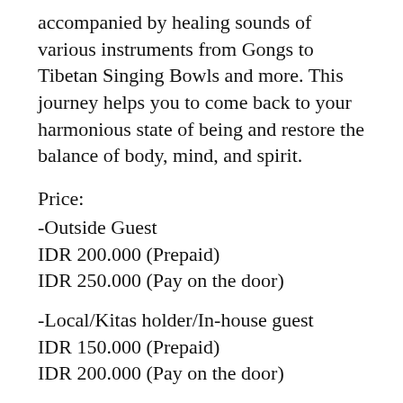accompanied by healing sounds of various instruments from Gongs to Tibetan Singing Bowls and more. This journey helps you to come back to your harmonious state of being and restore the balance of body, mind, and spirit.
Price:
-Outside Guest
IDR 200.000 (Prepaid)
IDR 250.000 (Pay on the door)
-Local/Kitas holder/In-house guest
IDR 150.000 (Prepaid)
IDR 200.000 (Pay on the door)
Notes:
Maximum 14 participants, advance reservation is required. Tickets are available through megatix.co.id or at the front desk of Udara.